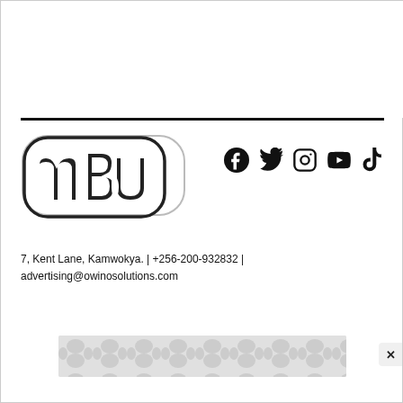[Figure (logo): MBU logo — stylized lowercase 'mbu' letters in bold black with rounded outline/border, on white background]
[Figure (other): Social media icons: Facebook, Twitter/X, Instagram, YouTube, TikTok — all black]
7, Kent Lane, Kamwokya. | +256-200-932832 | advertising@owinosolutions.com
[Figure (other): Advertisement banner with repeating grey circular pattern on light grey background]